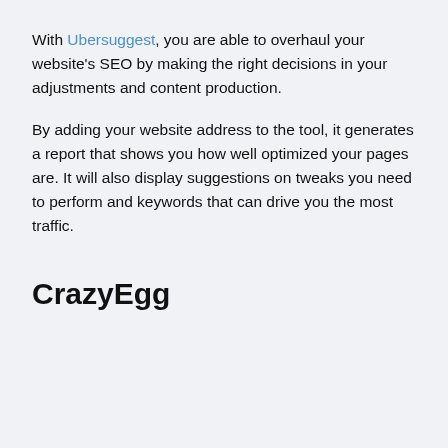With Ubersuggest, you are able to overhaul your website's SEO by making the right decisions in your adjustments and content production.
By adding your website address to the tool, it generates a report that shows you how well optimized your pages are. It will also display suggestions on tweaks you need to perform and keywords that can drive you the most traffic.
CrazyEgg